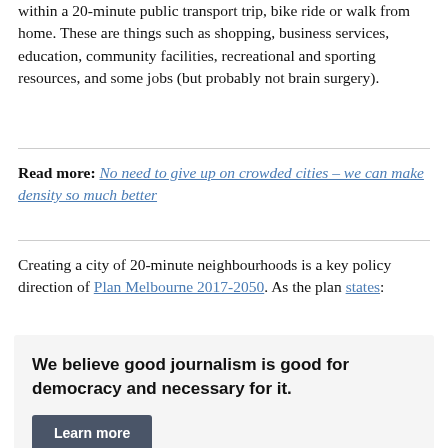within a 20-minute public transport trip, bike ride or walk from home. These are things such as shopping, business services, education, community facilities, recreational and sporting resources, and some jobs (but probably not brain surgery).
Read more: No need to give up on crowded cities – we can make density so much better
Creating a city of 20-minute neighbourhoods is a key policy direction of Plan Melbourne 2017-2050. As the plan states:
We believe good journalism is good for democracy and necessary for it.
Learn more